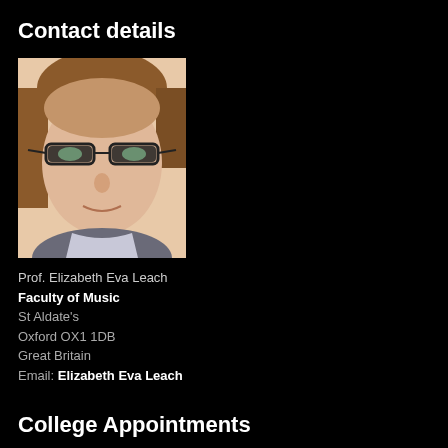Contact details
[Figure (photo): Headshot photo of Prof. Elizabeth Eva Leach, a woman with reddish-brown hair and glasses, wearing a grey/striped top]
Prof. Elizabeth Eva Leach
Faculty of Music
St Aldate's
Oxford OX1 1DB
Great Britain
Email: Elizabeth Eva Leach
College Appointments